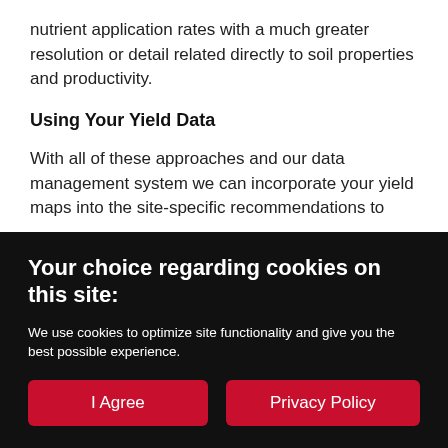nutrient application rates with a much greater resolution or detail related directly to soil properties and productivity.
Using Your Yield Data
With all of these approaches and our data management system we can incorporate your yield maps into the site-specific recommendations to
Your choice regarding cookies on this site:
We use cookies to optimize site functionality and give you the best possible experience.
I Agree
Privacy Policy